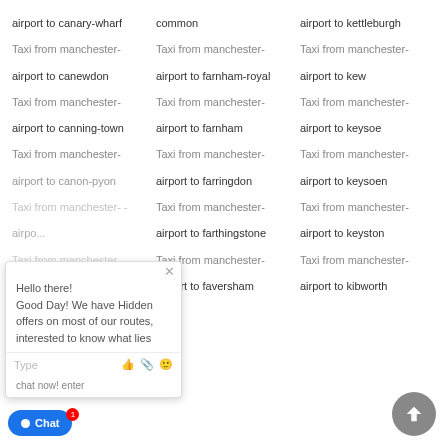airport to canary-wharf
common
airport to kettleburgh
Taxi from manchester-
Taxi from manchester-
Taxi from manchester-
airport to canewdon
airport to farnham-royal
airport to kew
Taxi from manchester-
Taxi from manchester-
Taxi from manchester-
airport to canning-town
airport to farnham
airport to keysoe
Taxi from manchester-
Taxi from manchester-
Taxi from manchester-
airport to canon-pyon
airport to farringdon
airport to keysoen
Taxi from manchester- -
Taxi from manchester-
Taxi from manchester-
airpo...
airport to farthingstone
airport to keyston
Taxi from manchester- -
Taxi from manchester-
Taxi from manchester-
... canterbury
airport to faversham
airport to kibworth